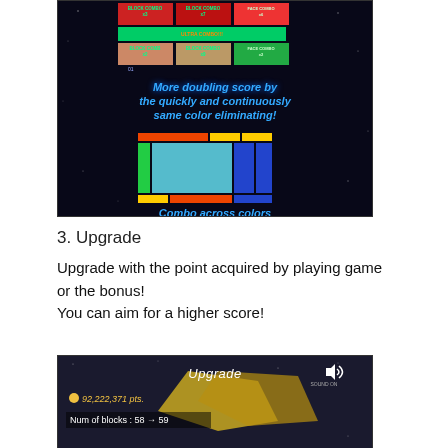[Figure (screenshot): Game screenshot on dark starfield background showing colored block grid combos with text: 'More doubling score by the quickly and continuously same color eliminating!' and rainbow block grid with text: 'Combo across colors with the rainbow block!']
3. Upgrade
Upgrade with the point acquired by playing game or the bonus!
You can aim for a higher score!
[Figure (screenshot): Game Upgrade screen screenshot showing '92,222,371 pts.' and 'Num of blocks: 58 → 59' with gold angular shapes and sound icon]